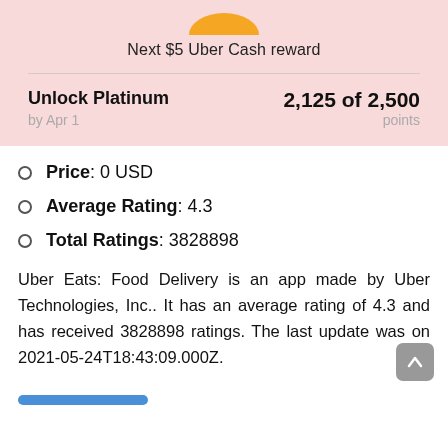Next $5 Uber Cash reward
Unlock Platinum    2,125 of 2,500
by Apr 1             points
Price: 0 USD
Average Rating: 4.3
Total Ratings: 3828898
Uber Eats: Food Delivery is an app made by Uber Technologies, Inc.. It has an average rating of 4.3 and has received 3828898 ratings. The last update was on 2021-05-24T18:43:09.000Z.